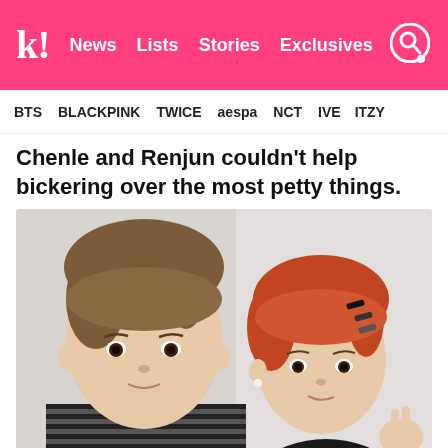k! News Lists Stories Exclusives
BTS BLACKPINK TWICE aespa NCT IVE ITZY
Chenle and Renjun couldn't help bickering over the most petty things.
[Figure (photo): Selfie photo of two young male K-pop idols, one with brown hair wearing a striped shirt and one with orange/red hair wearing black, making peace sign]